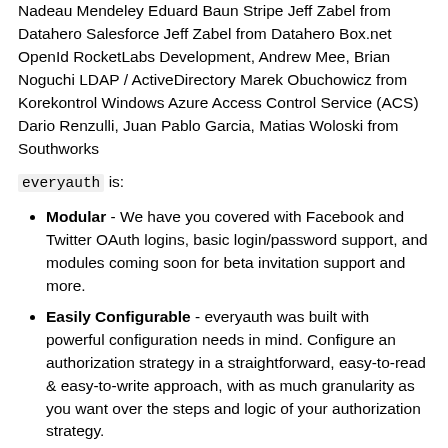Nadeau Mendeley Eduard Baun Stripe Jeff Zabel from Datahero Salesforce Jeff Zabel from Datahero Box.net OpenId RocketLabs Development, Andrew Mee, Brian Noguchi LDAP / ActiveDirectory Marek Obuchowicz from Korekontrol Windows Azure Access Control Service (ACS) Dario Renzulli, Juan Pablo Garcia, Matias Woloski from Southworks
everyauth is:
Modular - We have you covered with Facebook and Twitter OAuth logins, basic login/password support, and modules coming soon for beta invitation support and more.
Easily Configurable - everyauth was built with powerful configuration needs in mind. Configure an authorization strategy in a straightforward, easy-to-read & easy-to-write approach, with as much granularity as you want over the steps and logic of your authorization strategy.
Idiomatic - The syntax for configuring and extending your authorization strategy.